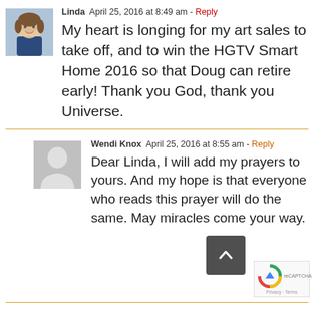[Figure (photo): Avatar photo of Linda, a woman in blue clothing]
Linda  April 25, 2016 at 8:49 am - Reply
My heart is longing for my art sales to take off, and to win the HGTV Smart Home 2016 so that Doug can retire early! Thank you God, thank you Universe.
[Figure (photo): Generic grey avatar placeholder for Wendi Knox]
Wendi Knox  April 25, 2016 at 8:55 am - Reply
Dear Linda, I will add my prayers to yours. And my hope is that everyone who reads this prayer will do the same. May miracles come your way.